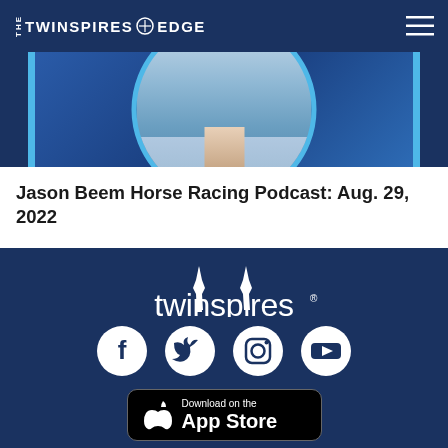THE TWINSPIRES EDGE
[Figure (photo): Person in light blue shirt with circular frame with blue border on dark blue background]
Jason Beem Horse Racing Podcast: Aug. 29, 2022
[Figure (logo): Twinspires logo with twin spire icons above the word twinspires in white on dark blue background]
[Figure (infographic): Social media icons: Facebook, Twitter, Instagram, YouTube in white circles on dark blue background]
[Figure (infographic): Download on the App Store button - black rounded rectangle with Apple logo and text]